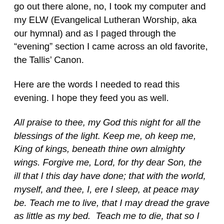go out there alone, no, I took my computer and my ELW (Evangelical Lutheran Worship, aka our hymnal) and as I paged through the "evening" section I came across an old favorite, the Tallis' Canon.
Here are the words I needed to read this evening. I hope they feed you as well.
All praise to thee, my God this night for all the blessings of the light. Keep me, oh keep me, King of kings, beneath thine own almighty wings. Forgive me, Lord, for thy dear Son, the ill that I this day have done; that with the world, myself, and thee, I, ere I sleep, at peace may be. Teach me to live, that I may dread the grave as little as my bed.  Teach me to die, that so I may, rise glorious at the awesome day.  Oh, may my soul in thee repose, and may sweet sleep mine eyelids close, sleep that shall me more vigorous make, to serve my God when I awake! Praise God, from whom all blessings